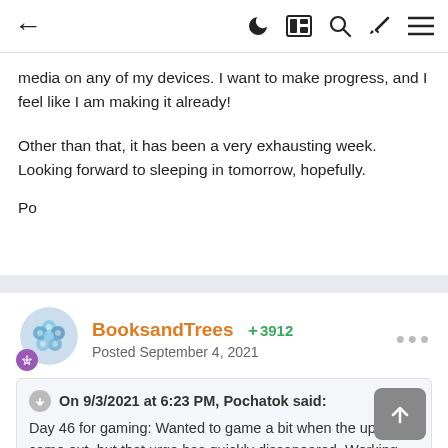← (navigation icons: moon, grid, search, brush, menu)
media on any of my devices. I want to make progress, and I feel like I am making it already!
Other than that, it has been a very exhausting week. Looking forward to sleeping in tomorrow, hopefully.

Po
BooksandTrees + 3912
Posted September 4, 2021
On 9/3/2021 at 6:23 PM, Pochatok said:
Day 46 for gaming: Wanted to game a bit when the update came out, but that urge has quickly dissapeared. Working has been very rewarding lately. I feel very firtunate to have